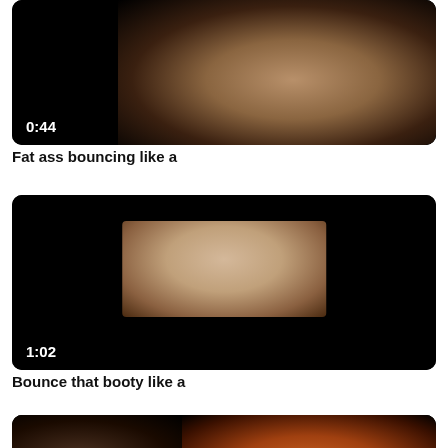[Figure (screenshot): Video thumbnail with dark background, timestamp 0:44 in bottom left]
Fat ass bouncing like a
[Figure (screenshot): Video thumbnail with dark background showing a small inset image, timestamp 1:02 in bottom left]
Bounce that booty like a
[Figure (screenshot): Video thumbnail showing a person holding a basketball]